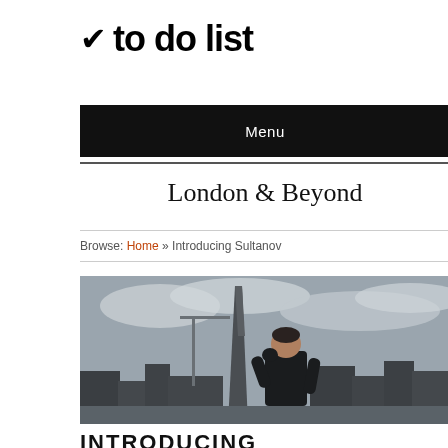✔ to do list
Menu
London & Beyond
Browse: Home » Introducing Sultanov
[Figure (photo): A man in a dark jacket standing on a rooftop with the Shard and London skyline behind him under a cloudy sky]
INTRODUCING